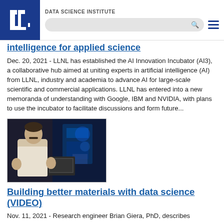DATA SCIENCE INSTITUTE
intelligence for applied science
Dec. 20, 2021 - LLNL has established the AI Innovation Incubator (AI3), a collaborative hub aimed at uniting experts in artificial intelligence (AI) from LLNL, industry and academia to advance AI for large-scale scientific and commercial applications. LLNL has entered into a new memoranda of understanding with Google, IBM and NVIDIA, with plans to use the incubator to facilitate discussions and form future...
[Figure (photo): A man in a white shirt speaking or presenting in a laboratory environment with blue-lit equipment and a computer monitor visible in the background.]
Building better materials with data science (VIDEO)
Nov. 11, 2021 - Research engineer Brian Giera, PhD, describes